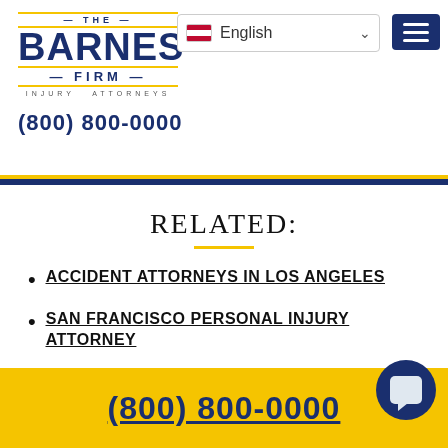[Figure (logo): The Barnes Firm Injury Attorneys logo — blue text with gold accent lines]
English
(800) 800-0000
RELATED:
ACCIDENT ATTORNEYS IN LOS ANGELES
SAN FRANCISCO PERSONAL INJURY ATTORNEY
SAN JOSE PERSONAL INJURY LAWYERS
(800) 800-0000